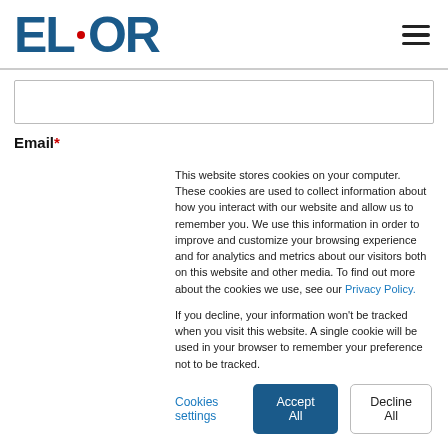[Figure (logo): ELDOR logo in dark blue with a small red dot between EL and OR]
Email*
This website stores cookies on your computer. These cookies are used to collect information about how you interact with our website and allow us to remember you. We use this information in order to improve and customize your browsing experience and for analytics and metrics about our visitors both on this website and other media. To find out more about the cookies we use, see our Privacy Policy.

If you decline, your information won't be tracked when you visit this website. A single cookie will be used in your browser to remember your preference not to be tracked.
Cookies settings
Accept All
Decline All